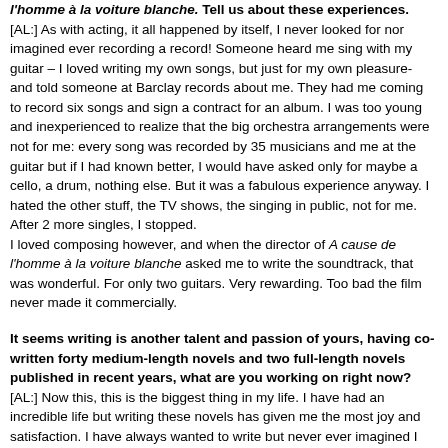l'homme à la voiture blanche. Tell us about these experiences.
[AL:] As with acting, it all happened by itself, I never looked for nor imagined ever recording a record! Someone heard me sing with my guitar – I loved writing my own songs, but just for my own pleasure- and told someone at Barclay records about me. They had me coming to record six songs and sign a contract for an album. I was too young and inexperienced to realize that the big orchestra arrangements were not for me: every song was recorded by 35 musicians and me at the guitar but if I had known better, I would have asked only for maybe a cello, a drum, nothing else. But it was a fabulous experience anyway. I hated the other stuff, the TV shows, the singing in public, not for me. After 2 more singles, I stopped.
I loved composing however, and when the director of A cause de l'homme à la voiture blanche asked me to write the soundtrack, that was wonderful. For only two guitars. Very rewarding. Too bad the film never made it commercially.
It seems writing is another talent and passion of yours, having co-written forty medium-length novels and two full-length novels published in recent years, what are you working on right now?
[AL:] Now this, this is the biggest thing in my life. I have had an incredible life but writing these novels has given me the most joy and satisfaction. I have always wanted to write but never ever imagined I would be published one day. Also, I write in English, so who is going to read my texts here in France?? But it happened; a long story; a magical